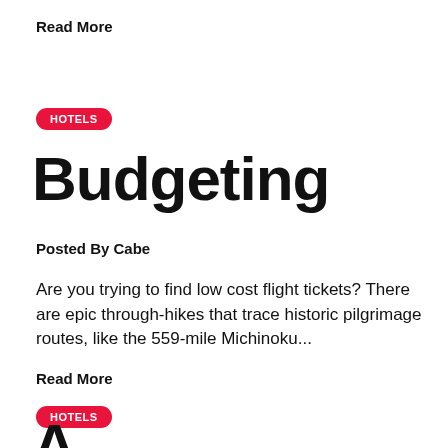Read More
HOTELS
Budgeting
Posted By Cabe
Are you trying to find low cost flight tickets? There are epic through-hikes that trace historic pilgrimage routes, like the 559-mile Michinoku...
Read More
HOTELS
A...